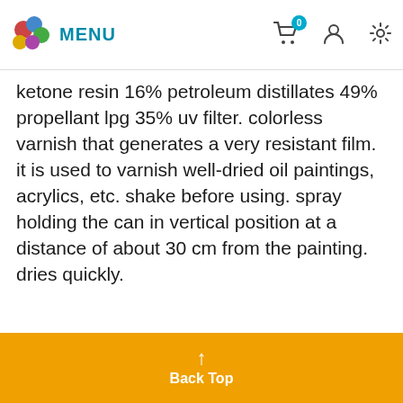MENU (navigation bar with cart, user, settings icons)
Ketone resin 16% petroleum distillates 49% propellant lpg 35% uv filter. colorless varnish that generates a very resistant film. it is used to varnish well-dried oil paintings, acrylics, etc. shake before using. spray holding the can in vertical position at a distance of about 30 cm from the painting. dries quickly.
[Figure (logo): Maimeri brand logo — triangle mountain shape in dark teal/navy with diagonal white stripes, word MAIMERI below]
↑ Back Top